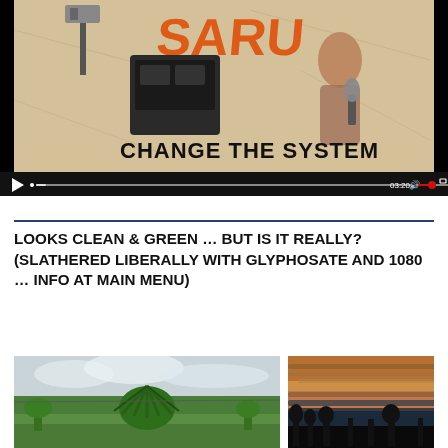[Figure (screenshot): Embedded video player showing stylized artwork with text 'CHANGE THE SYSTEM' and 'SARU' branding, with video controls showing 03:20 duration and a play button overlay. The thumbnail shows a robot/machine figure and a person with a microphone.]
LOOKS CLEAN & GREEN … BUT IS IT REALLY? (SLATHERED LIBERALLY WITH GLYPHOSATE AND 1080 … INFO AT MAIN MENU)
[Figure (photo): Photo of a green field with a large flax/cabbage tree plant in the foreground and overcast sky]
[Figure (photo): Photo of a sky at dusk with horizontal cloud streaks and a dark silhouetted treeline]